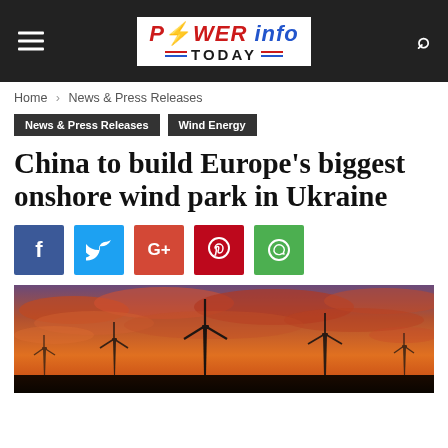Power Info Today — navigation header with logo
Home › News & Press Releases
News & Press Releases
Wind Energy
China to build Europe's biggest onshore wind park in Ukraine
[Figure (other): Social sharing buttons: Facebook, Twitter, Google+, Pinterest, WhatsApp]
[Figure (photo): Wind turbines silhouetted against a dramatic orange and red sunset sky with clouds]